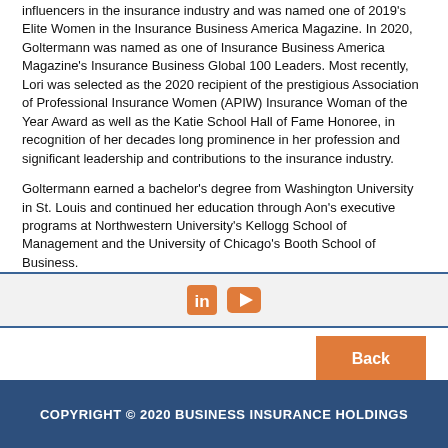influencers in the insurance industry and was named one of 2019's Elite Women in the Insurance Business America Magazine. In 2020, Goltermann was named as one of Insurance Business America Magazine's Insurance Business Global 100 Leaders. Most recently, Lori was selected as the 2020 recipient of the prestigious Association of Professional Insurance Women (APIW) Insurance Woman of the Year Award as well as the Katie School Hall of Fame Honoree, in recognition of her decades long prominence in her profession and significant leadership and contributions to the insurance industry.
Goltermann earned a bachelor's degree from Washington University in St. Louis and continued her education through Aon's executive programs at Northwestern University's Kellogg School of Management and the University of Chicago's Booth School of Business.
[Figure (other): Social media icons: LinkedIn and YouTube in orange on a light gray background with blue horizontal borders]
Back
COPYRIGHT © 2020 BUSINESS INSURANCE HOLDINGS